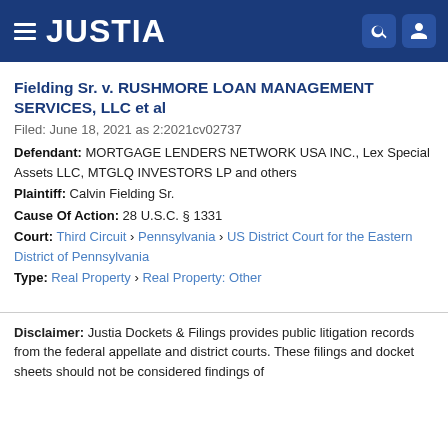JUSTIA
Fielding Sr. v. RUSHMORE LOAN MANAGEMENT SERVICES, LLC et al
Filed: June 18, 2021 as 2:2021cv02737
Defendant: MORTGAGE LENDERS NETWORK USA INC., Lex Special Assets LLC, MTGLQ INVESTORS LP and others
Plaintiff: Calvin Fielding Sr.
Cause Of Action: 28 U.S.C. § 1331
Court: Third Circuit › Pennsylvania › US District Court for the Eastern District of Pennsylvania
Type: Real Property › Real Property: Other
Disclaimer: Justia Dockets & Filings provides public litigation records from the federal appellate and district courts. These filings and docket sheets should not be considered findings of